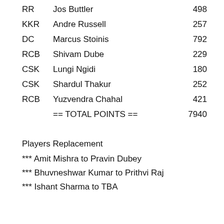| Team | Player | Points |
| --- | --- | --- |
| RR | Jos Buttler | 498 |
| KKR | Andre Russell | 257 |
| DC | Marcus Stoinis | 792 |
| RCB | Shivam Dube | 229 |
| CSK | Lungi Ngidi | 180 |
| CSK | Shardul Thakur | 252 |
| RCB | Yuzvendra Chahal | 421 |
|  | == TOTAL POINTS == | 7940 |
Players Replacement
*** Amit Mishra to Pravin Dubey
*** Bhuvneshwar Kumar to Prithvi Raj
*** Ishant Sharma to TBA